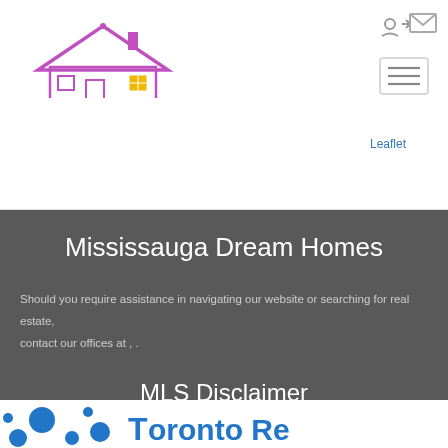[Figure (logo): Jan's Realty Team logo: house outline with roof and windows in purple/pink, gold square window accent, with tagline 'Your Home Sold GUARANTEED or We'll Buy It']
[Figure (other): Navigation icons: login icon and envelope icon in top right, hamburger menu button below]
Leaflet
Mississauga Dream Homes
Should you require assistance in navigating our website or searching for real estate, contact our offices at , .
MLS Disclaimer
[Figure (logo): Toronto Realty logo with blue dots pattern on left and blue bold text beginning with 'T']